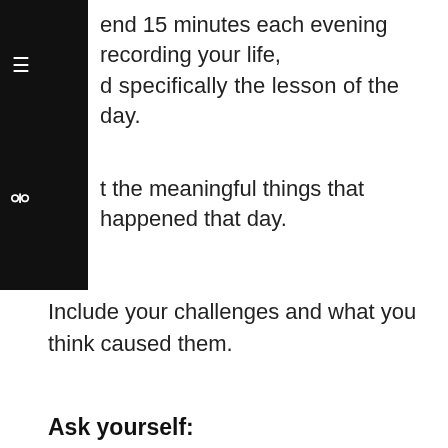end 15 minutes each evening recording your life, and specifically the lesson of the day.
at the meaningful things that happened that day.
Include your challenges and what you think caused them.
Ask yourself:
[Figure (screenshot): Cookie consent banner with blue background reading 'This website uses cookies to ensure you get the best experience on our website.' with a 'Learn more' link and a 'Got it' button.]